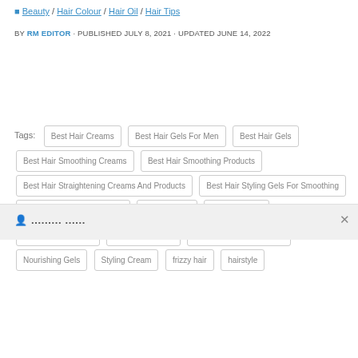Beauty / Hair Colour / Hair Oil / Hair Tips
BY RM EDITOR · PUBLISHED JULY 8, 2021 · UPDATED JUNE 14, 2022
Tags: Best Hair Creams, Best Hair Gels For Men, Best Hair Gels, Best Hair Smoothing Creams, Best Hair Smoothing Products, Best Hair Straightening Creams And Products, Best Hair Styling Gels For Smoothing, Best Hair Styling Smoothing, Gel & Waxes, Good Hair Gel, hair smoothing gels, Hair Styling Gels, Hair Styling Wax And Gel, Nourishing Gels, Styling Cream, frizzy hair, hairstyle